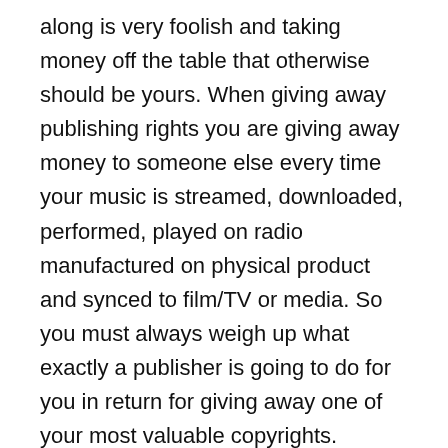along is very foolish and taking money off the table that otherwise should be yours. When giving away publishing rights you are giving away money to someone else every time your music is streamed, downloaded, performed, played on radio manufactured on physical product and synced to film/TV or media. So you must always weigh up what exactly a publisher is going to do for you in return for giving away one of your most valuable copyrights.
Before we get into how royalties are split, lets start with the important question….
What is Music Publishing and What do Publishers Do ?